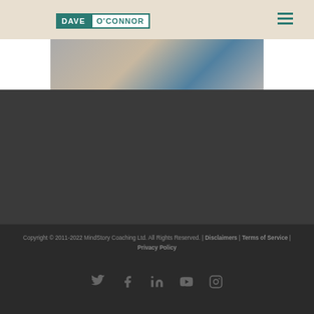DAVE O'CONNOR
[Figure (photo): Partial photo strip showing people, partially cropped at the top of the dark section]
Copyright © 2011-2022 MindStory Coaching Ltd. All Rights Reserved. | Disclaimers | Terms of Service | Privacy Policy